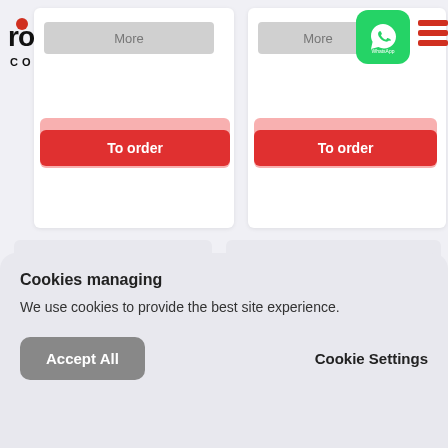[Figure (logo): Rollis Company logo with red and black stylized text]
More
To order
More
To order
[Figure (illustration): WhatsApp green icon button]
[Figure (illustration): Hamburger menu icon with red lines]
[Figure (photo): Product card placeholder left bottom]
[Figure (photo): Product card placeholder right bottom]
Cookies managing
We use cookies to provide the best site experience.
Accept All
Cookie Settings